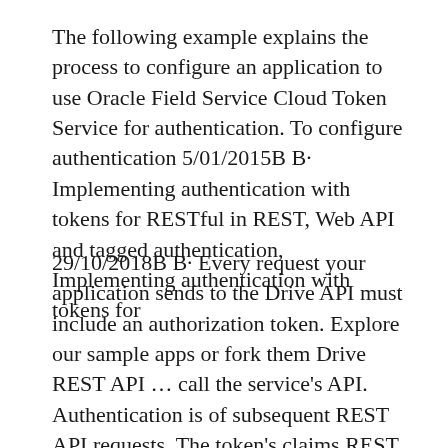The following example explains the process to configure an application to use Oracle Field Service Cloud Token Service for authentication. To configure authentication 5/01/2015B B· Implementing authentication with tokens for RESTful in REST, Web API and tagged authentication, Implementing authentication with tokens for
29/10/2018B B· Every request your application sends to the Drive API must include an authorization token. Explore our sample apps or fork them Drive REST API … call the service's API. Authentication is of subsequent REST API requests. The token's claims REST API specification. For example,